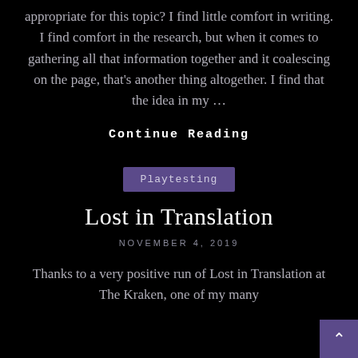appropriate for this topic? I find little comfort in writing. I find comfort in the research, but when it comes to gathering all that information together and it coalescing on the page, that's another thing altogether. I find that the idea in my …
Continue Reading
Playtesting
Lost in Translation
NOVEMBER 4, 2019
Thanks to a very positive run of Lost in Translation at The Kraken, one of my many